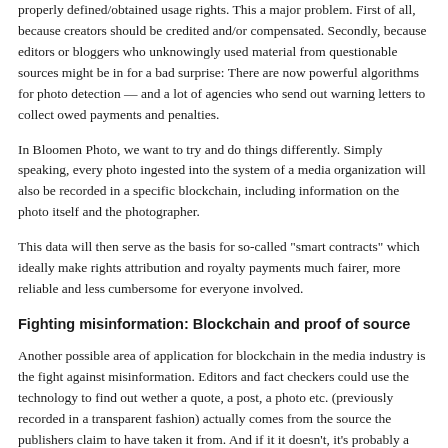properly defined/obtained usage rights. This a major problem. First of all, because creators should be credited and/or compensated. Secondly, because editors or bloggers who unknowingly used material from questionable sources might be in for a bad surprise: There are now powerful algorithms for photo detection — and a lot of agencies who send out warning letters to collect owed payments and penalties.
In Bloomen Photo, we want to try and do things differently. Simply speaking, every photo ingested into the system of a media organization will also be recorded in a specific blockchain, including information on the photo itself and the photographer.
This data will then serve as the basis for so-called "smart contracts" which ideally make rights attribution and royalty payments much fairer, more reliable and less cumbersome for everyone involved.
Fighting misinformation: Blockchain and proof of source
Another possible area of application for blockchain in the media industry is the fight against misinformation. Editors and fact checkers could use the technology to find out wether a quote, a post, a photo etc. (previously recorded in a transparent fashion) actually comes from the source the publishers claim to have taken it from. And if it it doesn't, it's probably a case of fabricated